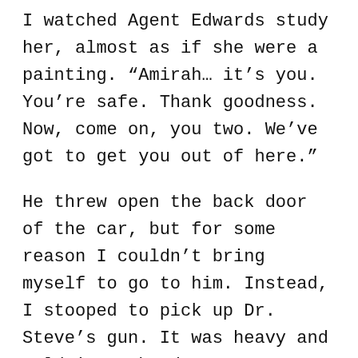I watched Agent Edwards study her, almost as if she were a painting. “Amirah… it’s you. You’re safe. Thank goodness. Now, come on, you two. We’ve got to get you out of here.”
He threw open the back door of the car, but for some reason I couldn’t bring myself to go to him. Instead, I stooped to pick up Dr. Steve’s gun. It was heavy and cold in my hands.
“Cammie, you’re bleeding. Come on. We’ve got to get you girls back to school.” He